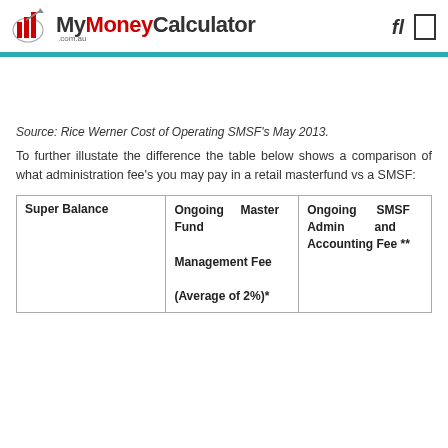MyMoneyCalculator .com.au
Source: Rice Werner Cost of Operating SMSF's May 2013.
To further illustate the difference the table below shows a comparison of what administration fee's you may pay in a retail masterfund vs a SMSF:
| Super Balance | Ongoing Master Fund
Management Fee
(Average of 2%)* | Ongoing SMSF Admin and Accounting Fee ** |
| --- | --- | --- |